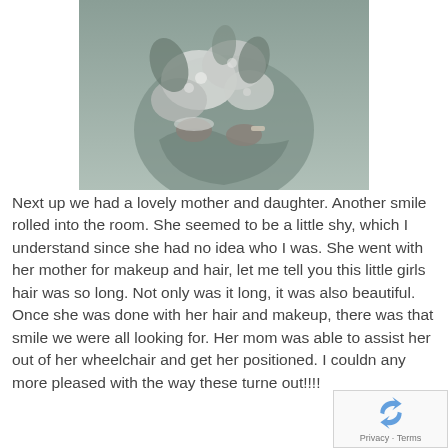[Figure (photo): A black and white / sepia-toned photo of a person holding a large bouquet of flowers, cropped to show torso and hands only. The person is wearing a dress and a bracelet.]
Next up we had a lovely mother and daughter. Another smile rolled into the room. She seemed to be a little shy, which I understand since she had no idea who I was. She went with her mother for makeup and hair, let me tell you this little girls hair was so long. Not only was it long, it was also beautiful. Once she was done with her hair and makeup, there was that smile we were all looking for. Her mom was able to assist her out of her wheelchair and get her positioned. I couldn any more pleased with the way these turne out!!!!